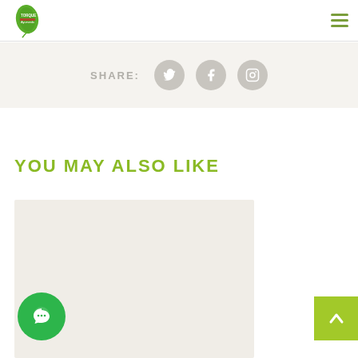Torque Ayurveda logo and hamburger menu
[Figure (other): Share section with SHARE: label and three social media icons (Twitter, Facebook, Instagram) as grey circles]
YOU MAY ALSO LIKE
[Figure (other): Light beige/grey card placeholder for a related article thumbnail]
[Figure (other): Green circular chat button at bottom left]
[Figure (other): Green back-to-top button with upward arrow at bottom right]